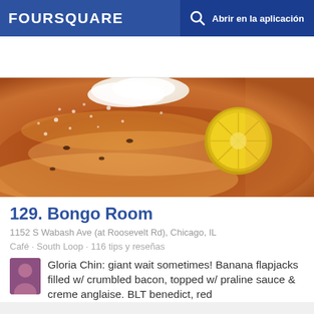FOURSQUARE  Abrir en la aplicación
[Figure (photo): Close-up food photo of pancakes/flapjacks dusted with powdered sugar, topped with whipped cream and a lemon slice, on a plate with syrup sauce]
129. Bongo Room
1152 S Wabash Ave (at Roosevelt Rd), Chicago, IL
Café · South Loop · 116 tips y reseñas
Gloria Chin: giant wait sometimes! Banana flapjacks filled w/ crumbled bacon, topped w/ praline sauce & creme anglaise. BLT benedict, red